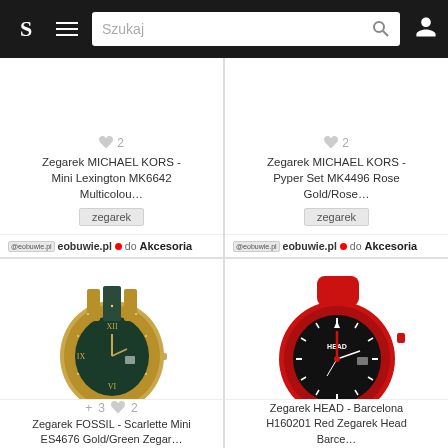S  ≡  Szukaj  🔍  👤
[Figure (screenshot): Product card top-left: Zegarek MICHAEL KORS - Mini Lexington MK6642 Multicolou... with heart icon 2, tag 'zegarek', store eobuwie.pl, category Akcesoria]
[Figure (screenshot): Product card top-right: Zegarek MICHAEL KORS - Pyper Set MK4496 Rose Gold/Rose... with heart icon 2, tag 'zegarek', store eobuwie.pl, category Akcesoria]
[Figure (photo): Gold FOSSIL watch with dark green/black dial and bracelet band - Scarlette Mini ES4676]
[Figure (photo): Red HEAD watch with black dial and red rubber strap - Barcelona H160201]
Zegarek FOSSIL - Scarlette Mini ES4676 Gold/Green Zegar...
Zegarek HEAD - Barcelona H160201 Red Zegarek Head Barce...